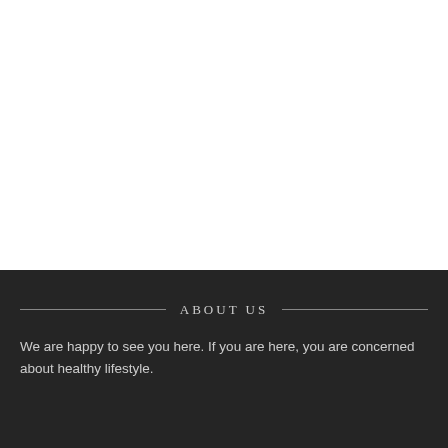ABOUT US
We are happy to see you here. If you are here, you are concerned about healthy lifestyle.